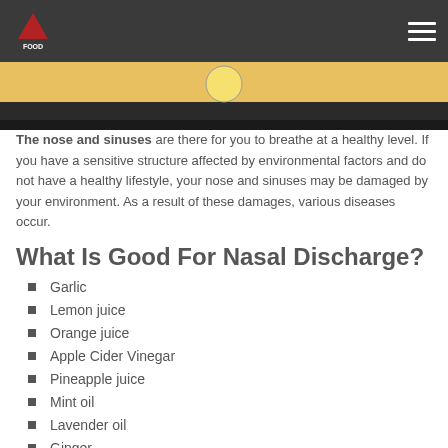FoodTrend logo and navigation
[Figure (photo): Partial hero image showing food/yellow background fading to dark]
The nose and sinuses are there for you to breathe at a healthy level. If you have a sensitive structure affected by environmental factors and do not have a healthy lifestyle, your nose and sinuses may be damaged by your environment. As a result of these damages, various diseases occur.
What Is Good For Nasal Discharge?
Garlic
Lemon juice
Orange juice
Apple Cider Vinegar
Pineapple juice
Mint oil
Lavender oil
Ginger
Honey